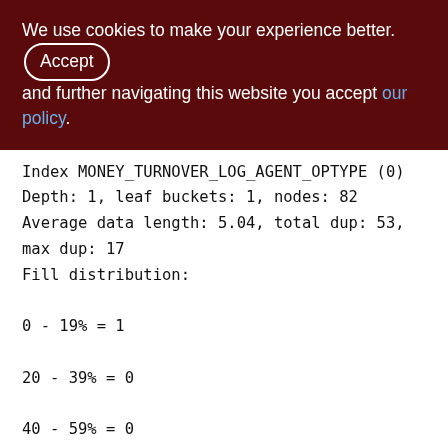We use cookies to make your experience better. By accepting and further navigating this website you accept our policy.
Index MONEY_TURNOVER_LOG_AGENT_OPTYPE (0)
Depth: 1, leaf buckets: 1, nodes: 82
Average data length: 5.04, total dup: 53, max dup: 17
Fill distribution:
0 - 19% = 1
20 - 39% = 0
40 - 59% = 0
60 - 79% = 0
80 - 99% = 0
MON_LOG (164)